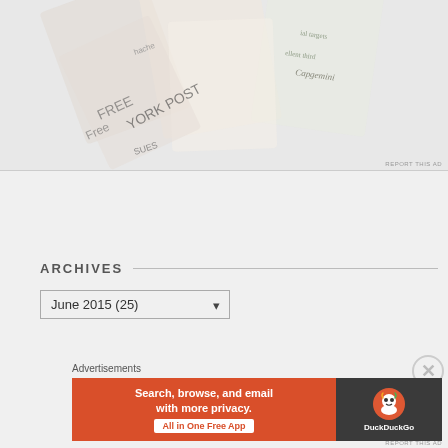[Figure (screenshot): Top portion of a webpage showing a faded advertisement with book covers and text including 'New York Post', 'Free Issues', 'hachette Book Group', 'ial targets', 'ellent third', 'Capgemini'. A 'REPORT THIS AD' link appears at bottom right.]
ARCHIVES
June 2015  (25)
Advertisements
[Figure (screenshot): DuckDuckGo banner advertisement with orange background on left side reading 'Search, browse, and email with more privacy. All in One Free App' and dark right side with DuckDuckGo duck logo and 'DuckDuckGo' text.]